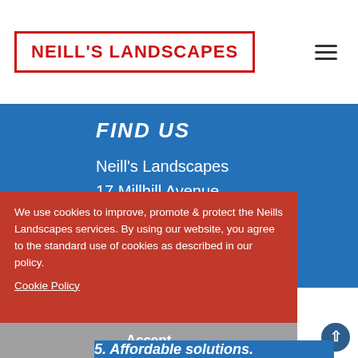NEILL'S LANDSCAPES
FIND US
Neill's Landscapes
17 Millhill Avenue
Kilmaurs
Ayrshire
We use cookies to improve, promote & protect the Neills Landscapes services. By using our website, you agree to the standard use of cookies as described in our policy.
Cookie Policy
Accept
5. Affordable solutions.